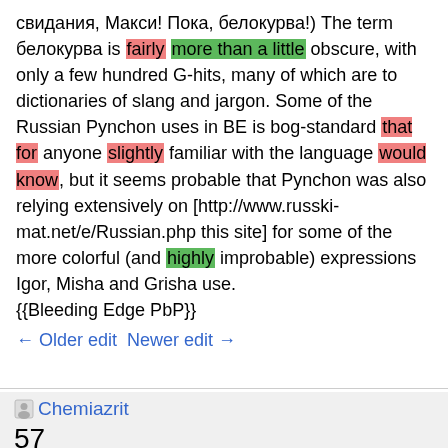свидания, Макси! Пока, белокурва!) The term белокурва is fairly more than a little obscure, with only a few hundred G-hits, many of which are to dictionaries of slang and jargon. Some of the Russian Pynchon uses in BE is bog-standard that for anyone slightly familiar with the language would know, but it seems probable that Pynchon was also relying extensively on [http://www.russki-mat.net/e/Russian.php this site] for some of the more colorful (and highly improbable) expressions Igor, Misha and Grisha use.
{{Bleeding Edge PbP}}
← Older edit  Newer edit →
Chemiazrit
57
EDITS